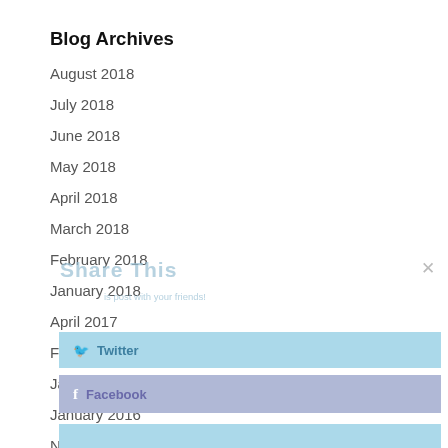Blog Archives
August 2018
July 2018
June 2018
May 2018
April 2018
March 2018
February 2018
January 2018
April 2017
February 2017
January 2017
January 2016
November 2015
[Figure (screenshot): Share This overlay popup with Twitter and Facebook share buttons, partially overlaying the blog archive list. Shows 'Share This' title, 'is post with your friends!' subtitle, a close X button, a light blue Twitter button, and a light purple Facebook button.]